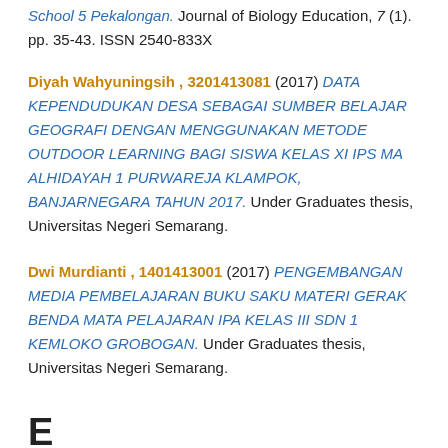School 5 Pekalongan. Journal of Biology Education, 7 (1). pp. 35-43. ISSN 2540-833X
Diyah Wahyuningsih , 3201413081 (2017) DATA KEPENDUDUKAN DESA SEBAGAI SUMBER BELAJAR GEOGRAFI DENGAN MENGGUNAKAN METODE OUTDOOR LEARNING BAGI SISWA KELAS XI IPS MA ALHIDAYAH 1 PURWAREJA KLAMPOK, BANJARNEGARA TAHUN 2017. Under Graduates thesis, Universitas Negeri Semarang.
Dwi Murdianti , 1401413001 (2017) PENGEMBANGAN MEDIA PEMBELAJARAN BUKU SAKU MATERI GERAK BENDA MATA PELAJARAN IPA KELAS III SDN 1 KEMLOKO GROBOGAN. Under Graduates thesis, Universitas Negeri Semarang.
E